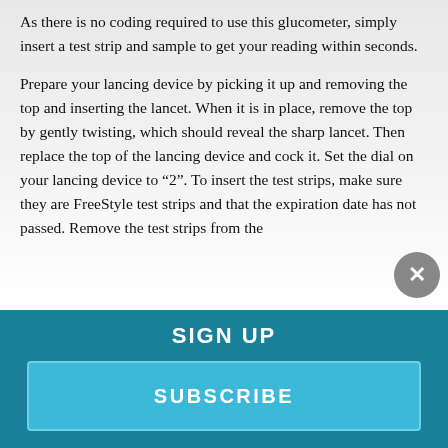As there is no coding required to use this glucometer, simply insert a test strip and sample to get your reading within seconds.
Prepare your lancing device by picking it up and removing the top and inserting the lancet. When it is in place, remove the top by gently twisting, which should reveal the sharp lancet. Then replace the top of the lancing device and cock it. Set the dial on your lancing device to “2”. To insert the test strips, make sure they are FreeStyle test strips and that the expiration date has not passed. Remove the test strips from the
SIGN UP
SUBSCRIBE